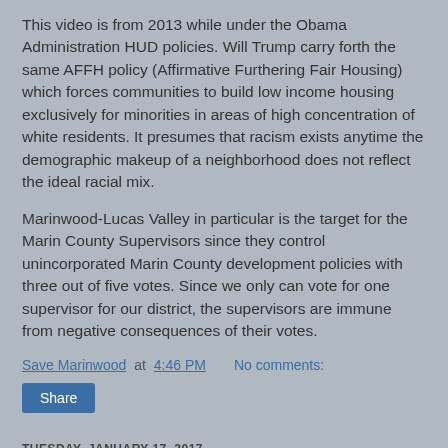This video is from 2013  while under the Obama Administration HUD policies. Will Trump carry forth the same AFFH policy (Affirmative Furthering Fair Housing) which forces communities to build low income housing exclusively for minorities in areas of high concentration of white residents.  It presumes that racism exists anytime the demographic makeup of a neighborhood does not reflect the ideal racial mix.
Marinwood-Lucas Valley in particular is the target for the Marin County Supervisors since they control unincorporated Marin County development policies with three out of five votes.    Since we only can vote for one supervisor for our district, the supervisors are immune from negative consequences of their votes.
Save Marinwood at 4:46 PM    No comments:
Share
TUESDAY, JANUARY 17, 2017
How to evaluate a Regional Plan by